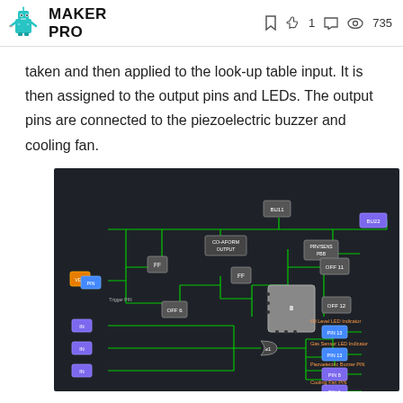MAKER PRO | 1 | 735
taken and then applied to the look-up table input. It is then assigned to the output pins and LEDs. The output pins are connected to the piezoelectric buzzer and cooling fan.
[Figure (circuit-diagram): Circuit/schematic diagram on dark background showing interconnected logic blocks including counters, flip-flops, look-up table (LUT), LED indicators for Oil Level and Gas Sensor, Piezoelectric Buzzer Pin, and Cooling Fan Pin, connected by green signal wires.]